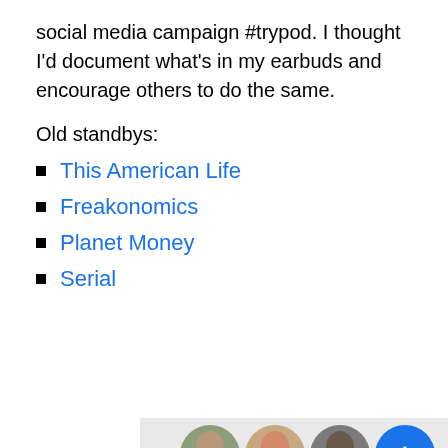social media campaign #trypod. I thought I'd document what's in my earbuds and encourage others to do the same.
Old standbys:
This American Life
Freakonomics
Planet Money
Serial
[Figure (photo): Row of circular avatar photos of people, with a blue circle at the end, on a light gray background.]
Privacy & Cookies: This site uses cookies. By continuing to use this website, you agree to their use.
To find out more, including how to control cookies, see here: Cookie Policy
Close and accept